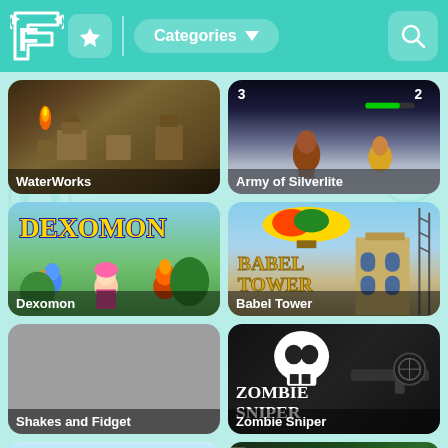F [logo] | Categories ▼ [search]
[Figure (screenshot): WaterWorks game thumbnail - top-down strategy game with buildings and flame]
WaterWorks
[Figure (screenshot): Army of Silverlite game thumbnail - 2D platformer with characters on ice/snow]
Army of Silverlite
[Figure (screenshot): Dexomon game thumbnail - colorful cartoon monster collecting game]
Dexomon
[Figure (screenshot): Babel Tower game thumbnail - tower building game with blimp and stone tower]
Babel Tower
[Figure (screenshot): Shakes and Fidget game thumbnail - gray placeholder image]
Shakes and Fidget
[Figure (screenshot): Zombie Sniper game thumbnail - dark first-person sniper game with skull logo]
Zombie Sniper
[Figure (screenshot): Partial game thumbnail bottom left - cartoon tank game]
[Figure (screenshot): Partial game thumbnail bottom right - green garbage truck game]